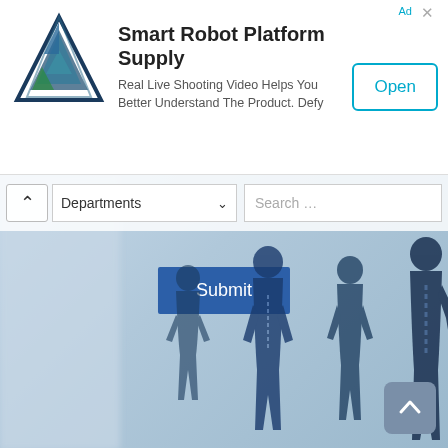[Figure (screenshot): Advertisement banner for Smart Robot Platform Supply app with logo, title, subtitle text, and Open button]
Smart Robot Platform Supply
Real Live Shooting Video Helps You Better Understand The Product. Defy
[Figure (screenshot): Website navigation area with chevron, Departments dropdown, Search field, Submit button, and silhouettes of business people in blue-gray background]
DOWNLOAD